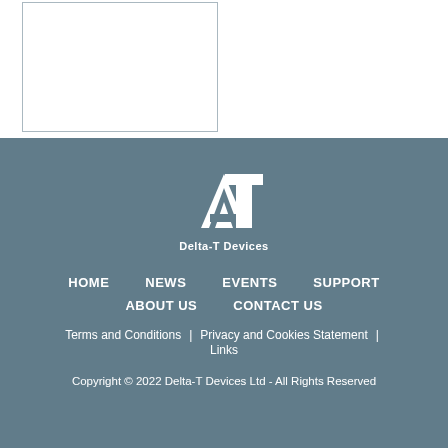[Figure (other): Partial white box outline with cropped content at top]
[Figure (logo): Delta-T Devices logo: white AT monogram with text 'Delta-T Devices' below]
HOME  NEWS  EVENTS  SUPPORT  ABOUT US  CONTACT US
Terms and Conditions  |  Privacy and Cookies Statement  |  Links
Copyright © 2022 Delta-T Devices Ltd - All Rights Reserved